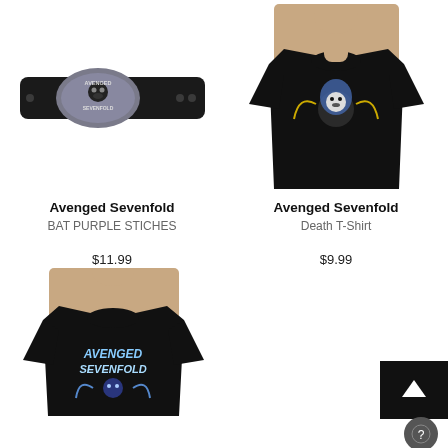[Figure (photo): Avenged Sevenfold black leather belt with oval metal buckle featuring Avenged Sevenfold skull logo]
[Figure (photo): Man wearing black Avenged Sevenfold Death T-Shirt with grim reaper skull graphic]
Avenged Sevenfold
BAT PURPLE STICHES
$11.99
Avenged Sevenfold
Death T-Shirt
$9.99
[Figure (photo): Man wearing black Avenged Sevenfold t-shirt with blue and white skull graphic]